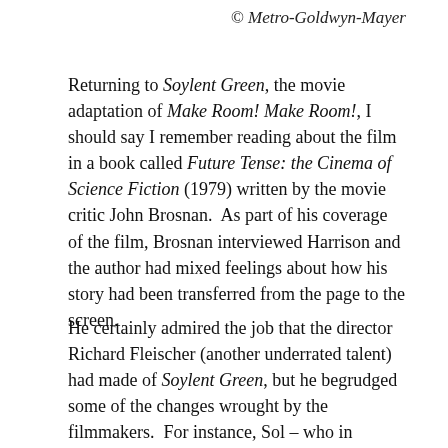© Metro-Goldwyn-Mayer
Returning to Soylent Green, the movie adaptation of Make Room! Make Room!, I should say I remember reading about the film in a book called Future Tense: the Cinema of Science Fiction (1979) written by the movie critic John Brosnan.  As part of his coverage of the film, Brosnan interviewed Harrison and the author had mixed feelings about how his story had been transferred from the page to the screen.
He certainly admired the job that the director Richard Fleischer (another underrated talent) had made of Soylent Green, but he begrudged some of the changes wrought by the filmmakers.  For instance, Sol – who in